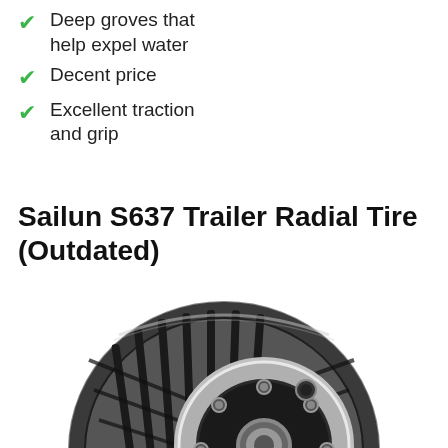Deep groves that help expel water
Decent price
Excellent traction and grip
Sailun S637 Trailer Radial Tire (Outdated)
[Figure (photo): Photo of a Sailun S637 trailer radial tire showing tread pattern with diagonal grooves and a silver/black multi-lug wheel rim]